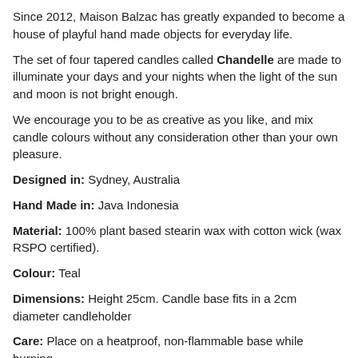Since 2012, Maison Balzac has greatly expanded to become a house of playful hand made objects for everyday life.
The set of four tapered candles called Chandelle are made to illuminate your days and your nights when the light of the sun and moon is not bright enough.
We encourage you to be as creative as you like, and mix candle colours without any consideration other than your own pleasure.
Designed in: Sydney, Australia
Hand Made in: Java Indonesia
Material: 100% plant based stearin wax with cotton wick (wax RSPO certified).
Colour: Teal
Dimensions: Height 25cm. Candle base fits in a 2cm diameter candleholder
Care: Place on a heatproof, non-flammable base while burning.